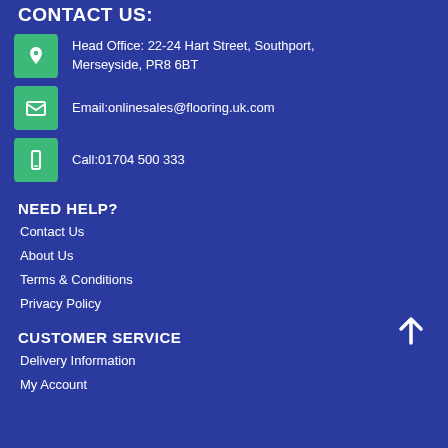CONTACT US:
Head Office: 22-24 Hart Street, Southport, Merseyside, PR8 6BT
Email:onlinesales@flooring.uk.com
Call:01704 500 333
NEED HELP?
Contact Us
About Us
Terms & Conditions
Privacy Policy
CUSTOMER SERVICE
Delivery Information
My Account